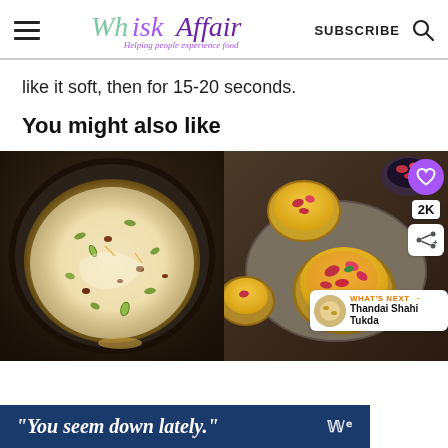Whisk Affair — Helping people experience food — SUBSCRIBE
like it soft, then for 15-20 seconds.
You might also like
[Figure (photo): Two food photos side by side: left shows a creamy kheer/payasam in a dark bowl with nuts and pistachios; right shows saffron milk dessert cups topped with rose petals, with a heart icon, 2K count badge, share button, and 'WHAT'S NEXT → Thandai Shahi Tukda' overlay]
[Figure (other): Advertisement banner: dark blue background, italic white text reading '"You seem down lately."' with a logo on the right]